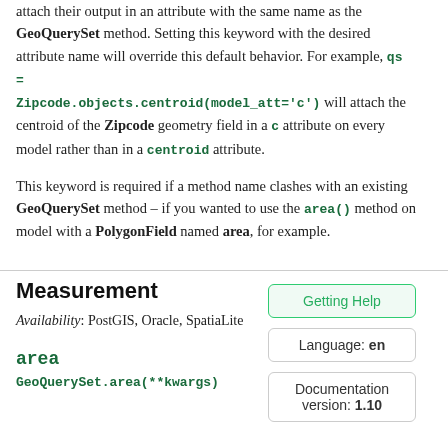attach their output in an attribute with the same name as the GeoQuerySet method. Setting this keyword with the desired attribute name will override this default behavior. For example, qs = Zipcode.objects.centroid(model_att='c') will attach the centroid of the Zipcode geometry field in a c attribute on every model rather than in a centroid attribute.
This keyword is required if a method name clashes with an existing GeoQuerySet method – if you wanted to use the area() method on model with a PolygonField named area, for example.
Measurement
Availability: PostGIS, Oracle, SpatiaLite
area
GeoQuerySet.area(**kwargs)